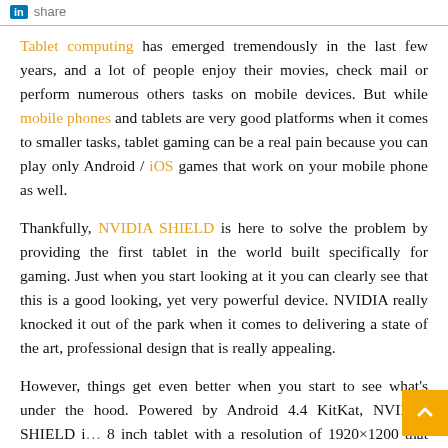in share
Tablet computing has emerged tremendously in the last few years, and a lot of people enjoy their movies, check mail or perform numerous others tasks on mobile devices. But while mobile phones and tablets are very good platforms when it comes to smaller tasks, tablet gaming can be a real pain because you can play only Android / iOS games that work on your mobile phone as well.
Thankfully, NVIDIA SHIELD is here to solve the problem by providing the first tablet in the world built specifically for gaming. Just when you start looking at it you can clearly see that this is a good looking, yet very powerful device. NVIDIA really knocked it out of the park when it comes to delivering a state of the art, professional design that is really appealing.
However, things get even better when you start to see what's under the hood. Powered by Android 4.4 KitKat, NVIDIA SHIELD i… 8 inch tablet with a resolution of 1920×1200 that can help you play…